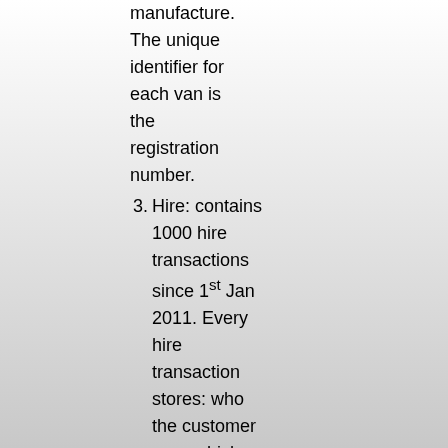manufacture. The unique identifier for each van is the registration number.
Hire: contains 1000 hire transactions since 1st Jan 2011. Every hire transaction stores: who the customer was, which van was rented out, the date it occurred, number of